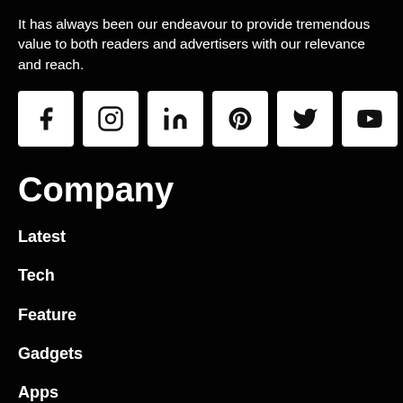It has always been our endeavour to provide tremendous value to both readers and advertisers with our relevance and reach.
[Figure (infographic): Six social media icon buttons in white square boxes: Facebook (f), Instagram (circle with camera), LinkedIn (in), Pinterest (p), Twitter (bird), YouTube (play button)]
Company
Latest
Tech
Feature
Gadgets
Apps
Interviews
Reviews